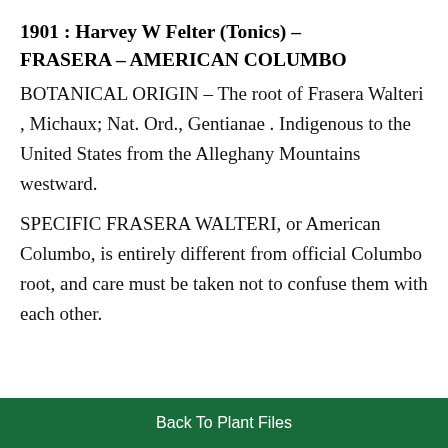1901 : Harvey W Felter (Tonics) – FRASERA – AMERICAN COLUMBO
BOTANICAL ORIGIN – The root of Frasera Walteri , Michaux; Nat. Ord., Gentianae . Indigenous to the United States from the Alleghany Mountains westward.
SPECIFIC FRASERA WALTERI, or American Columbo, is entirely different from official Columbo root, and care must be taken not to confuse them with each other.
Back To Plant Files